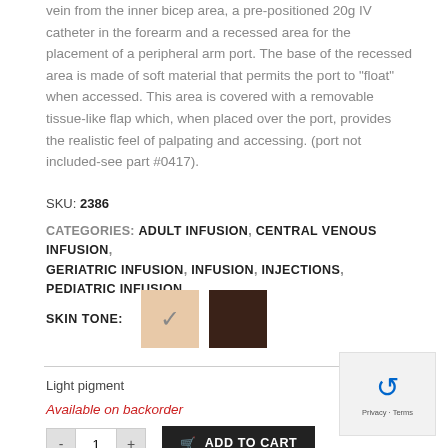vein from the inner bicep area, a pre-positioned 20g IV catheter in the forearm and a recessed area for the placement of a peripheral arm port. The base of the recessed area is made of soft material that permits the port to “float” when accessed. This area is covered with a removable tissue-like flap which, when placed over the port, provides the realistic feel of palpating and accessing. (port not included-see part #0417).
SKU: 2386
CATEGORIES: ADULT INFUSION, CENTRAL VENOUS INFUSION, GERIATRIC INFUSION, INFUSION, INJECTIONS, PEDIATRIC INFUSION
[Figure (other): Skin tone color swatches: light pigment swatch (beige/peach color, selected with checkmark) and dark pigment swatch (dark brown color)]
Light pigment
Available on backorder
[Figure (other): reCAPTCHA widget with Privacy - Terms label]